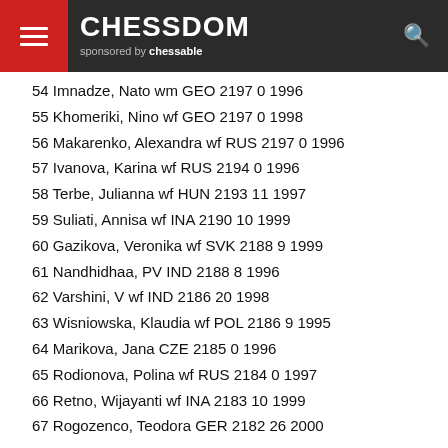CHESSDOM sponsored by chessable
54 Imnadze, Nato wm GEO 2197 0 1996
55 Khomeriki, Nino wf GEO 2197 0 1998
56 Makarenko, Alexandra wf RUS 2197 0 1996
57 Ivanova, Karina wf RUS 2194 0 1996
58 Terbe, Julianna wf HUN 2193 11 1997
59 Suliati, Annisa wf INA 2190 10 1999
60 Gazikova, Veronika wf SVK 2188 9 1999
61 Nandhidhaa, PV IND 2188 8 1996
62 Varshini, V wf IND 2186 20 1998
63 Wisniowska, Klaudia wf POL 2186 9 1995
64 Marikova, Jana CZE 2185 0 1996
65 Rodionova, Polina wf RUS 2184 0 1997
66 Retno, Wijayanti wf INA 2183 10 1999
67 Rogozenco, Teodora GER 2182 26 2000